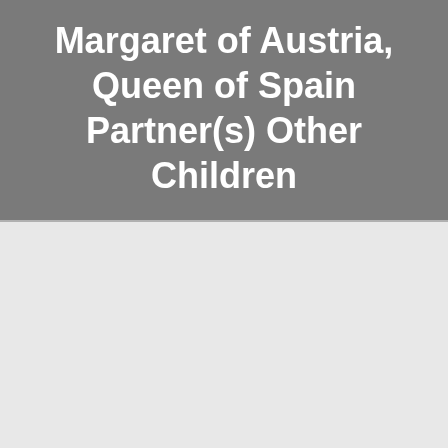Margaret of Austria, Queen of Spain Partner(s) Other Children